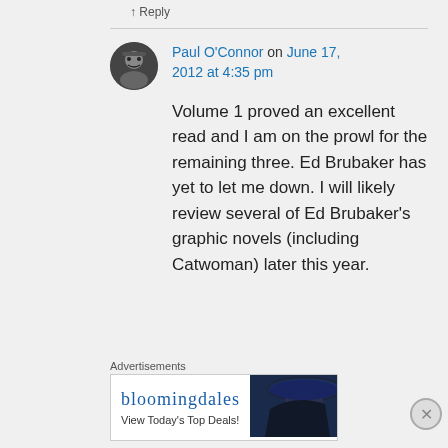↑ Reply
Paul O'Connor on June 17, 2012 at 4:35 pm
Volume 1 proved an excellent read and I am on the prowl for the remaining three. Ed Brubaker has yet to let me down. I will likely review several of Ed Brubaker's graphic novels (including Catwoman) later this year.
Advertisements
[Figure (other): Bloomingdale's advertisement banner: 'bloomingdales - View Today's Top Deals!' with SHOP NOW > button and woman in hat image]